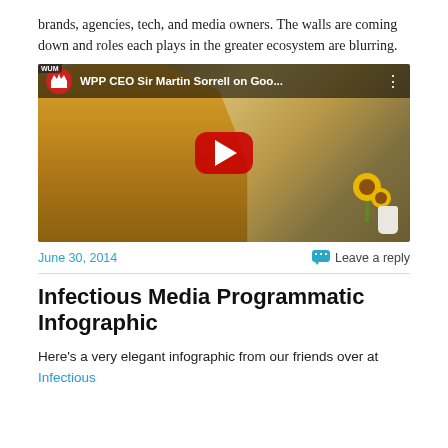brands, agencies, tech, and media owners. The walls are coming down and roles each plays in the greater ecosystem are blurring.
[Figure (screenshot): Embedded YouTube video thumbnail showing WPP CEO Sir Martin Sorrell, with YouTube play button overlay. Video title: 'WPP CEO Sir Martin Sorrell on Goo...']
June 30, 2014    Leave a reply
Infectious Media Programmatic Infographic
Here's a very elegant infographic from our friends over at Infectious